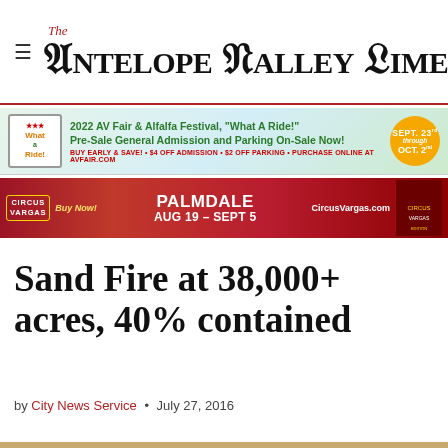The Antelope Valley Times
[Figure (infographic): 2022 AV Fair & Alfalfa Festival advertisement banner: 'What A Ride!' Pre-Sale General Admission and Parking On-Sale Now! BUY EARLY & SAVE! $4 OFF ADMISSION + $2 OFF PARKING. PURCHASE ONLINE AT AVFAIR.COM. SEPT. 23rd through OCT. 2nd.]
[Figure (infographic): Circus Vargas advertisement banner: PALMDALE AUG 19 - SEPT 5. CircusVargas.com. Buy Now!]
Sand Fire at 38,000+ acres, 40% contained
by City News Service • July 27, 2016